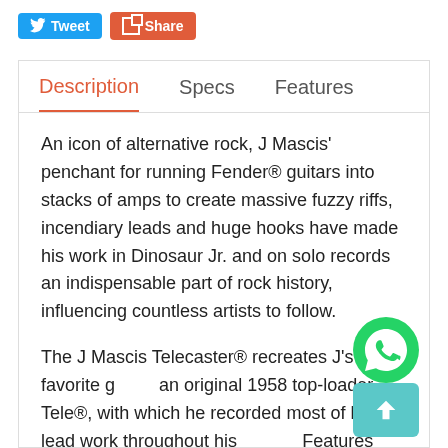[Figure (screenshot): Twitter Tweet button (blue) and Share button (orange/red) social sharing UI elements]
Description   Specs   Features
An icon of alternative rock, J Mascis' penchant for running Fender® guitars into stacks of amps to create massive fuzzy riffs, incendiary leads and huge hooks have made his work in Dinosaur Jr. and on solo records an indispensable part of rock history, influencing countless artists to follow.
The J Mascis Telecaster® recreates J's favorite g... an original 1958 top-loader Tele®, with which he recorded most of his lead work throughout hi... Features include a Dazzling Bottle Rocket Blu... finish...